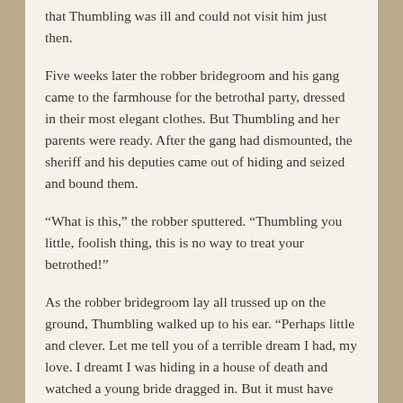that Thumbling was ill and could not visit him just then.
Five weeks later the robber bridegroom and his gang came to the farmhouse for the betrothal party, dressed in their most elegant clothes. But Thumbling and her parents were ready. After the gang had dismounted, the sheriff and his deputies came out of hiding and seized and bound them.
“What is this,” the robber sputtered. “Thumbling you little, foolish thing, this is no way to treat your betrothed!”
As the robber bridegroom lay all trussed up on the ground, Thumbling walked up to his ear. “Perhaps little and clever. Let me tell you of a terrible dream I had, my love. I dreamt I was hiding in a house of death and watched a young bride dragged in. But it must have been only a dream, my love. Then the innocent girl was butchered to feed these monsters. But it must have only been a